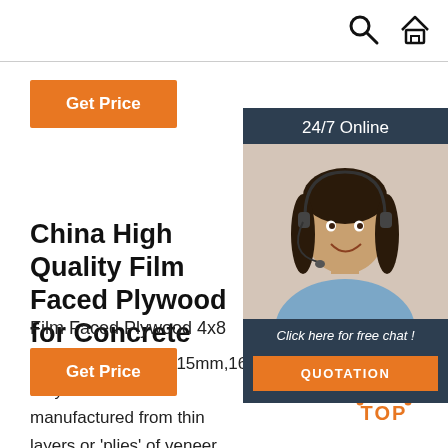[Figure (screenshot): Top navigation bar with search icon and home icon on the right]
Get Price
[Figure (photo): 24/7 Online customer service widget showing a woman wearing a headset, with 'Click here for free chat!' text and a QUOTATION button]
China High Quality Film Faced Plywood for Concrete
Film Faced Plywood 4x8
9mm,11mm,12mm,15mm,16mm,18mm . Plywood material manufactured from thin layers or 'plies' of veneer that are glued together with adjacent layers having their wood grain rotated up to 90 degrees to one another.
Get Price
[Figure (other): TOP back-to-top button with orange dotted triangle icon]